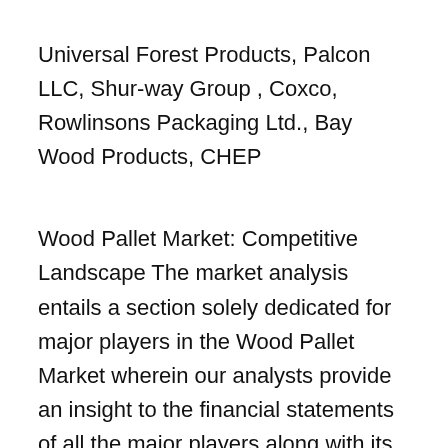Universal Forest Products, Palcon LLC, Shur-way Group , Coxco, Rowlinsons Packaging Ltd., Bay Wood Products, CHEP
Wood Pallet Market: Competitive Landscape
The market analysis entails a section solely dedicated for major players in the Wood Pallet Market wherein our analysts provide an insight to the financial statements of all the major players along with its key developments product benchmarking and SWOT analysis. The company profile section also includes a business overview